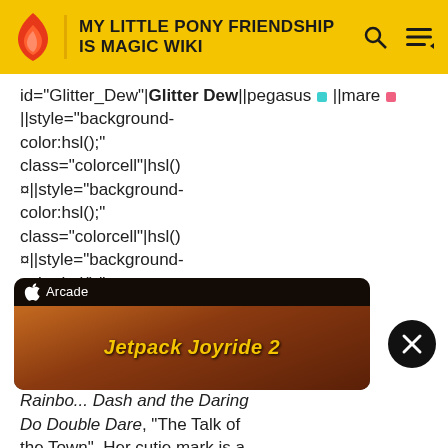MY LITTLE PONY FRIENDSHIP IS MAGIC WIKI
id="Glitter_Dew"|Glitter Dew||pegasus [img] ||mare [img] ||style="background-color:hsl();" class="colorcell"|hsl() ¤||style="background-color:hsl();" class="colorcell"|hsl() ¤||style="background-color:hsl();" class="colorcell"|hsl()¤|| 72 ||A Pegasus who appears as a Ponyville resident in chapter [link], Rainbow Dash and the Daring Do Double Dare, "The Talk of the Town". Her cutie mark is a starry cloud.||
[Figure (screenshot): Apple Arcade advertisement for Jetpack Joyride 2 with orange/fire themed background]